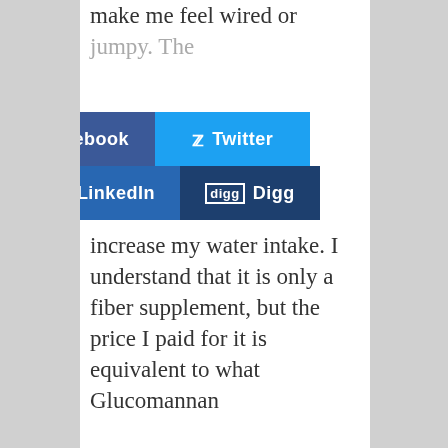make me feel wired or jumpy. The
[Figure (infographic): Social sharing buttons: Facebook (dark blue), Twitter (light blue), LinkedIn (dark blue), Digg (navy blue)]
forced me to increase my water intake. I understand that it is only a fiber supplement, but the price I paid for it is equivalent to what Glucomannan